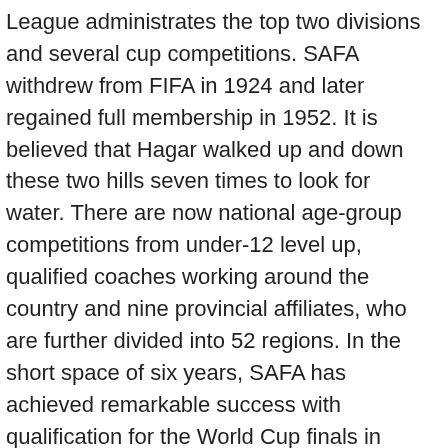League administrates the top two divisions and several cup competitions. SAFA withdrew from FIFA in 1924 and later regained full membership in 1952. It is believed that Hagar walked up and down these two hills seven times to look for water. There are now national age-group competitions from under-12 level up, qualified coaches working around the country and nine provincial affiliates, who are further divided into 52 regions. In the short space of six years, SAFA has achieved remarkable success with qualification for the World Cup finals in France in 1998, the title of African champions at the 1996 African Nations Cup finals, which the country hosted, and the runners-up berth in Burkina Faso two years later. The Programme is regulated by Commission Regulation (EU) No 965/2012 and it provides for the inspection of aircraft suspected (based on e.g. [5], On December 8, 1991 many opposing football associations came together in a "unity" process that eventually formed a non-racial South African Football Association. The South African Football Association